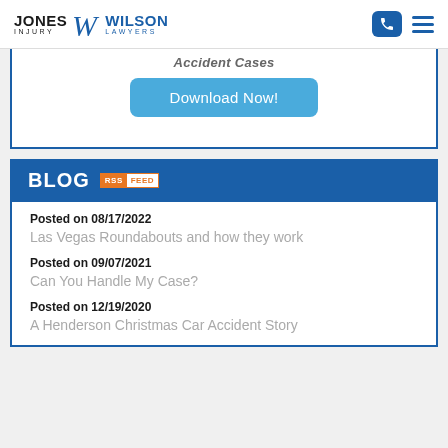JONES INJURY W WILSON LAWYERS
Accident Cases
Download Now!
BLOG RSS FEED
Posted on 08/17/2022
Las Vegas Roundabouts and how they work
Posted on 09/07/2021
Can You Handle My Case?
Posted on 12/19/2020
A Henderson Christmas Car Accident Story